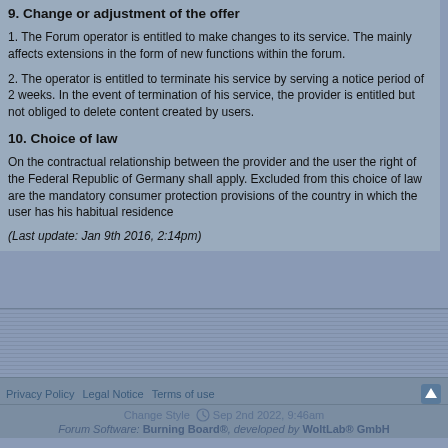9. Change or adjustment of the offer
1. The Forum operator is entitled to make changes to its service. The mainly affects extensions in the form of new functions within the forum.
2. The operator is entitled to terminate his service by serving a notice period of 2 weeks. In the event of termination of his service, the provider is entitled but not obliged to delete content created by users.
10. Choice of law
On the contractual relationship between the provider and the user the right of the Federal Republic of Germany shall apply. Excluded from this choice of law are the mandatory consumer protection provisions of the country in which the user has his habitual residence
(Last update: Jan 9th 2016, 2:14pm)
Privacy Policy  Legal Notice  Terms of use
Change Style  Sep 2nd 2022, 9:46am
Forum Software: Burning Board®, developed by WoltLab® GmbH